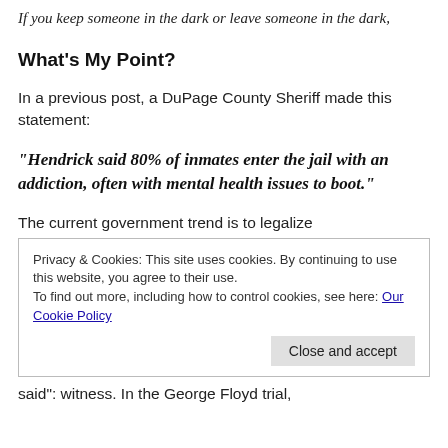If you keep someone in the dark or leave someone in the dark,
What's My Point?
In a previous post, a DuPage County Sheriff made this statement:
“Hendrick said 80% of inmates enter the jail with an addiction, often with mental health issues to boot.”
The current government trend is to legalize
Privacy & Cookies: This site uses cookies. By continuing to use this website, you agree to their use.
To find out more, including how to control cookies, see here: Our Cookie Policy
Close and accept
said”: witness. In the George Floyd trial,